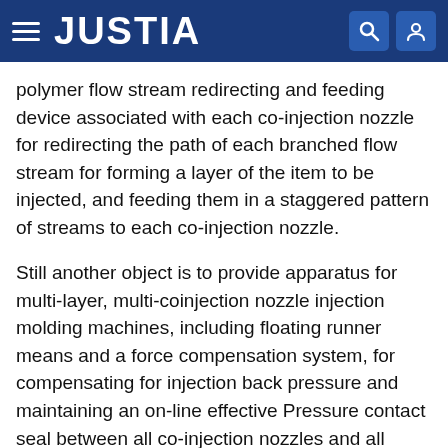JUSTIA
polymer flow stream redirecting and feeding device associated with each co-injection nozzle for redirecting the path of each branched flow stream for forming a layer of the item to be injected, and feeding them in a staggered pattern of streams to each co-injection nozzle.
Still another object is to provide apparatus for multi-layer, multi-coinjection nozzle injection molding machines, including floating runner means and a force compensation system, for compensating for injection back pressure and maintaining an on-line effective Pressure contact seal between all co-injection nozzles and all cavities of the machines.
The foregoing and other objects, features and advantages of this invention will be further appreciated